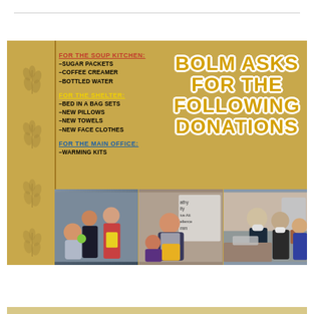BOLM ASKS FOR THE FOLLOWING DONATIONS
FOR THE SOUP KITCHEN:
–SUGAR PACKETS
–COFFEE CREAMER
–BOTTLED WATER
FOR THE SHELTER:
–BED IN A BAG SETS
–NEW PILLOWS
–NEW TOWELS
–NEW FACE CLOTHES
FOR THE MAIN OFFICE:
–WARMING KITS
[Figure (photo): Three photos showing BOLM community members and volunteers working together]